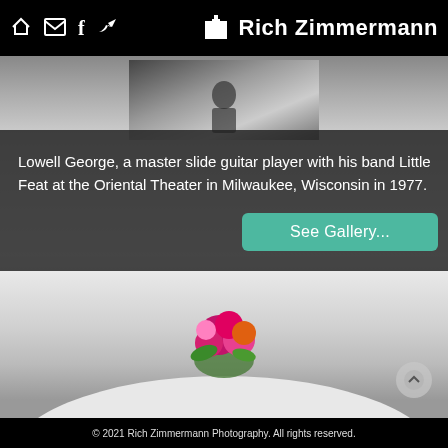Rich Zimmermann — navigation header with home, email, facebook, bird/share icons and logo
[Figure (photo): Black and white concert photo strip at top — Lowell George performing]
[Figure (photo): Main background photo: white draped fabric with colorful flower bouquet, dark surroundings]
Lowell George, a master slide guitar player with his band Little Feat at the Oriental Theater in Milwaukee, Wisconsin in 1977.
See Gallery...
© 2021 Rich Zimmermann Photography. All rights reserved.